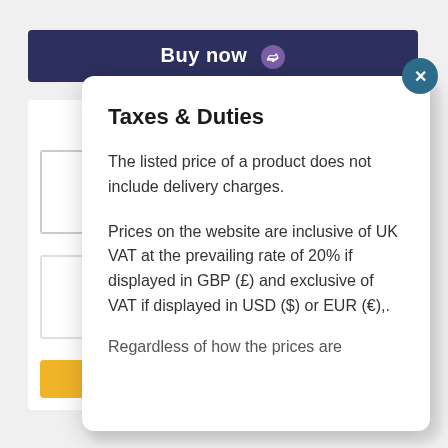[Figure (screenshot): Background of a webpage with a dark navy 'Buy now' navigation bar with a purple chevron icon, white panels, bordered boxes, and a yellow rectangle on the left side.]
Taxes & Duties
The listed price of a product does not include delivery charges.
Prices on the website are inclusive of UK VAT at the prevailing rate of 20% if displayed in GBP (£) and exclusive of VAT if displayed in USD ($) or EUR (€),.
Regardless of how the prices are